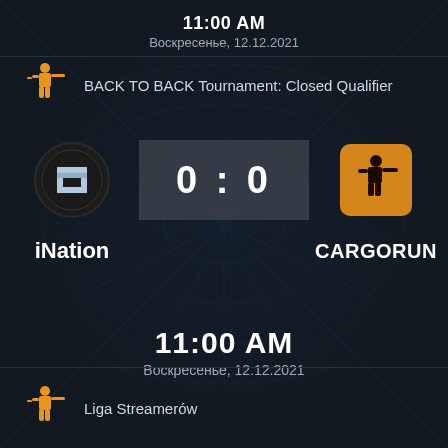11:00 AM
Воскресенье, 12.12.2021
BACK TO BACK Tournament: Closed Qualifier
iNation
0 : 0
CARGORUN
11:00 AM
Воскресенье, 12.12.2021
Liga Streamerów